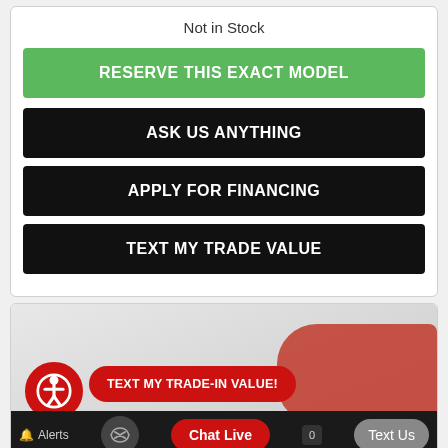Not in Stock
RESERVE THIS EXACT MODEL
ASK US ANYTHING
APPLY FOR FINANCING
TEXT MY TRADE VALUE
[Figure (screenshot): Bottom card with car image, accessibility icon, TEXT MY TRADE-IN VALUE! button, and bottom navigation bar with Alerts, Chat Live, Text Us buttons]
TEXT MY TRADE-IN VALUE!
Alerts
Chat Live
Text Us